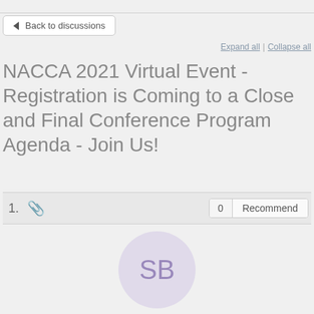Back to discussions
Expand all | Collapse all
NACCA 2021 Virtual Event - Registration is Coming to a Close and Final Conference Program Agenda - Join Us!
1. [attachment icon] 0 Recommend
[Figure (other): User avatar circle with initials SB for Sharon Brooks]
Sharon Brooks